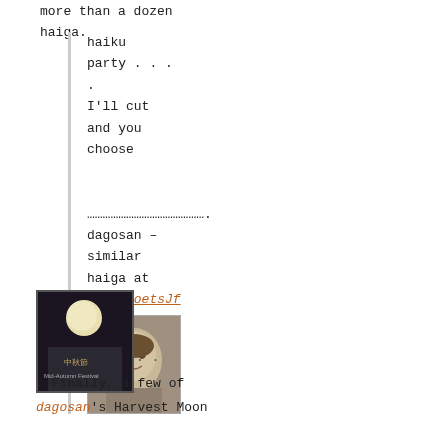more than a dozen haiga.
haiku party . . .
.
I'll cut
and you
choose

……………………………………….
dagosan –
similar
haiga at
MagnaPoetsJf
[Figure (photo): Black and white portrait photo of a young boy, smiling, head slightly tilted]
[Figure (photo): Small thumbnail image showing a moon in a dark night sky, with Chinese characters and text 'Autumn Festival']
. .
. Finally, a few of dagosan's Harvest Moon